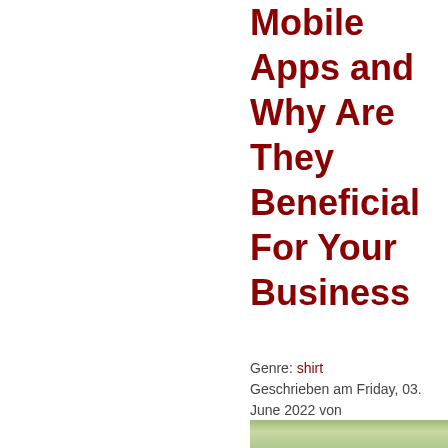Mobile Apps and Why Are They Beneficial For Your Business
Genre: shirt Geschrieben am Friday, 03. June 2022 von lynwoodcarmichae | Keine Kommentare »
[Figure (photo): Partial photo of a person, cropped at bottom of page]